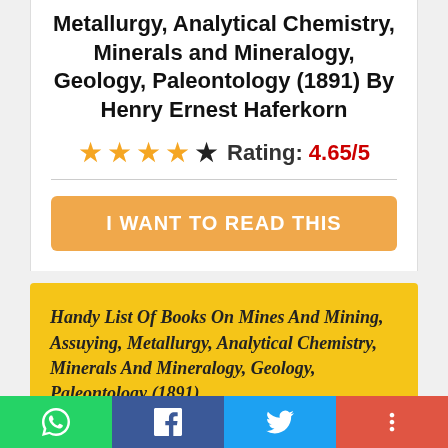Metallurgy, Analytical Chemistry, Minerals and Mineralogy, Geology, Paleontology (1891) By Henry Ernest Haferkorn
Rating: 4.65/5
I WANT TO READ THIS
[Figure (photo): Book cover image on yellow background with italic serif text reading: Handy List Of Books On Mines And Mining, Assuying, Metallurgy, Analytical Chemistry, Minerals And Mineralogy, Geology, Paleontology (1891)]